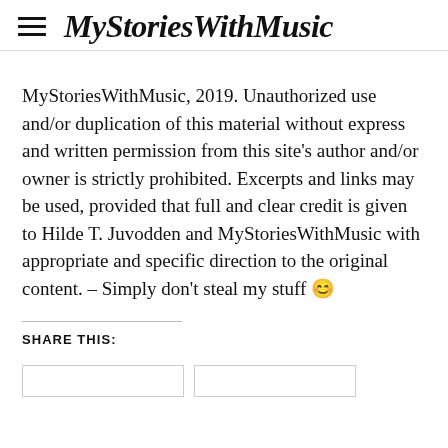MyStoriesWithMusic
MyStoriesWithMusic, 2019. Unauthorized use and/or duplication of this material without express and written permission from this site's author and/or owner is strictly prohibited. Excerpts and links may be used, provided that full and clear credit is given to Hilde T. Juvodden and MyStoriesWithMusic with appropriate and specific direction to the original content. – Simply don't steal my stuff 😊
SHARE THIS: